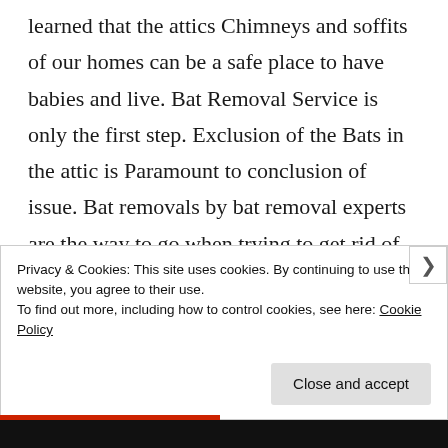learned that the attics Chimneys and soffits of our homes can be a safe place to have babies and live. Bat Removal Service is only the first step. Exclusion of the Bats in the attic is Paramount to conclusion of issue. Bat removals by bat removal experts are the way to go when trying to get rid of bats in your home and have bat
Privacy & Cookies: This site uses cookies. By continuing to use this website, you agree to their use.
To find out more, including how to control cookies, see here: Cookie Policy
Close and accept